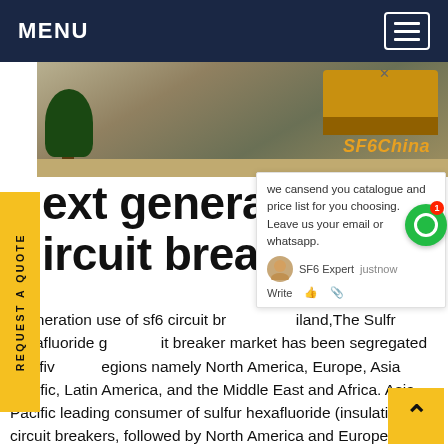MENU
[Figure (photo): Outdoor construction/industrial scene with yellow truck and tree, watermark SF6China in orange]
next generation use of sf6 circuit breaker Thailand
next generation use of sf6 circuit breaker Thailand,The Sulfr hexafluoride gas circuit breaker market has been segregated into five key regions namely North America, Europe, Asia Pacific, Latin America, and the Middle East and Africa. Asia Pacific leading consumer of sulfur hexafluoride (insulating gas) circuit breakers, followed by North America and Europe. China and India are key markets in the region.Get price